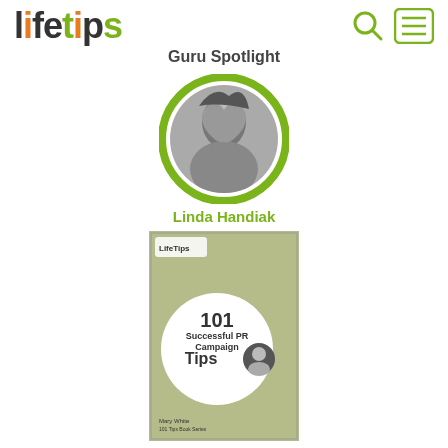lifetips
Guru Spotlight
[Figure (photo): Circular profile photo of Linda Handiak with green ring border]
Linda Handiak
[Figure (photo): Book cover: 101 Successful PR Campaign Tips by Mary White, olive/green cover with white circle logo]
101 Successful PR Campaign Tips
Mary White